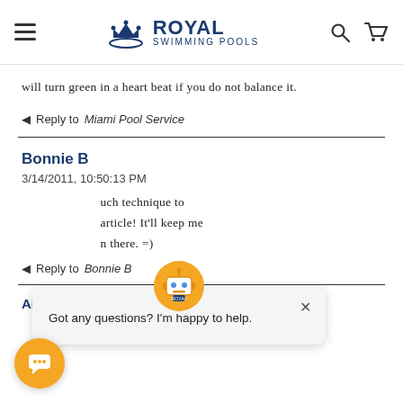Royal Swimming Pools
will turn green in a heart beat if you do not balance it.
Reply to Miami Pool Service
Bonnie B
3/14/2011, 10:50:13 PM
...uch technique to ...article! It'll keep me ...n there. =)
Reply to Bonnie B
Arizona Pool Service
Got any questions? I'm happy to help.